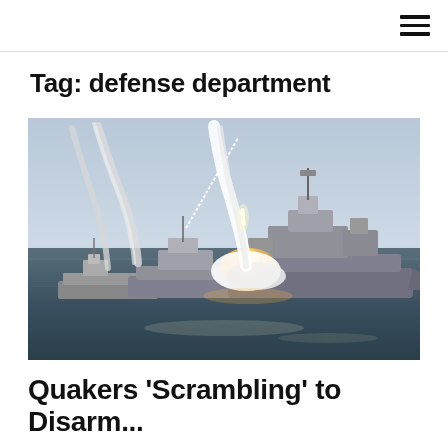Tag: defense department
[Figure (photo): Naval warships at sea firing missiles, with large plumes of white smoke and orange fire rising from the vessels against a hazy blue sky and grey ocean water.]
Quakers 'Scrambling' to Disarm...